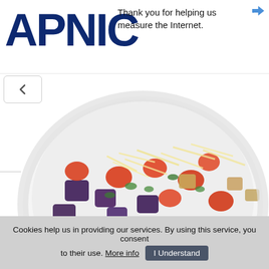[Figure (logo): APNIC logo in dark navy blue bold text]
Thank you for helping us measure the Internet.
[Figure (photo): A white bowl filled with salad containing roasted eggplant, cherry tomatoes, herbs, and shredded cheese]
recipes
Salad with roasted eggplant and tomatoes
★★★★★
Cookies help us in providing our services. By using this service, you consent to their use. More info  I Understand